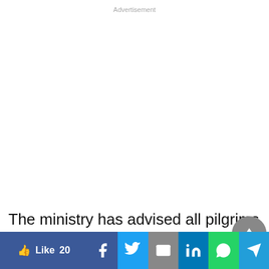Advertisement
The ministry has advised all pilgrims to follow all health regulations and preventive measures in order to maintain their health and safety while
[Figure (screenshot): Social media share bar with Like (20), Facebook, Twitter, Email, LinkedIn, WhatsApp, and Telegram buttons]